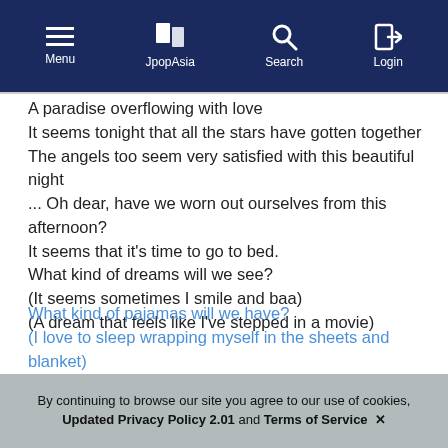Menu | JpopAsia | Search | Login
A paradise overflowing with love
It seems tonight that all the stars have gotten together
The angels too seem very satisfied with this beautiful night
... Oh dear, have we worn out ourselves from this afternoon?
It seems that it's time to go to bed.
What kind of dreams will we see?
(It seems sometimes I smile and baa)
(A dream that feels like I've stepped in a movie)
What kind of pajamas will we have?
(I love to sleep wrapping myself in the sheets and blanket)
(Red-checkered pajamas
I want to sleep in the outfit of a lady-in-waiting)
Will we be able to have a good sleep?
(I'm fast asleep because I'm already so happy)
(Yes... I think I'll definitely sleep happily)
By continuing to browse our site you agree to our use of cookies, Updated Privacy Policy 2.01 and Terms of Service ✕